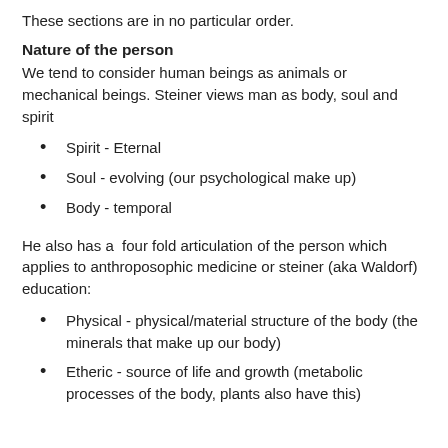These sections are in no particular order.
Nature of the person
We tend to consider human beings as animals or mechanical beings. Steiner views man as body, soul and spirit
Spirit - Eternal
Soul - evolving (our psychological make up)
Body - temporal
He also has a  four fold articulation of the person which applies to anthroposophic medicine or steiner (aka Waldorf) education:
Physical - physical/material structure of the body (the minerals that make up our body)
Etheric - source of life and growth (metabolic processes of the body, plants also have this)